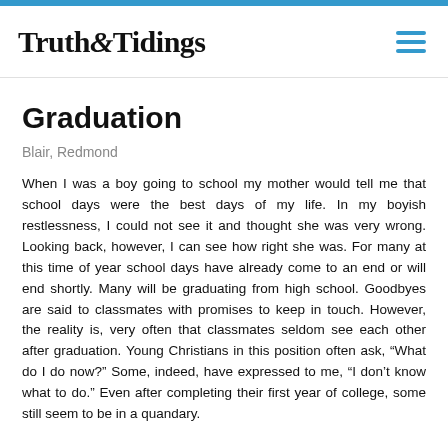Truth & Tidings
Graduation
Blair, Redmond
When I was a boy going to school my mother would tell me that school days were the best days of my life. In my boyish restlessness, I could not see it and thought she was very wrong. Looking back, however, I can see how right she was. For many at this time of year school days have already come to an end or will end shortly. Many will be graduating from high school. Goodbyes are said to classmates with promises to keep in touch. However, the reality is, very often that classmates seldom see each other after graduation. Young Christians in this position often ask, “What do I do now?” Some, indeed, have expressed to me, “I don’t know what to do.” Even after completing their first year of college, some still seem to be in a quandary.